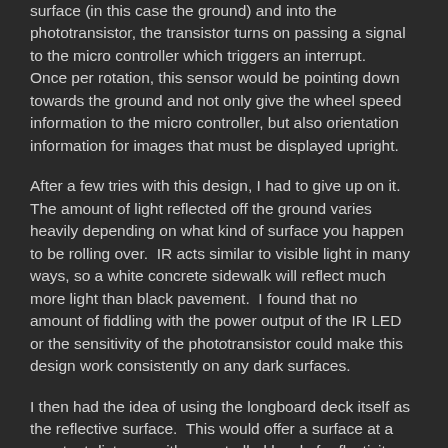surface (in this case the ground) and into the phototransistor, the transistor turns on passing a signal to the micro controller which triggers an interrupt.  Once per rotation, this sensor would be pointing down towards the ground and not only give the wheel speed information to the micro controller, but also orientation information for images that must be displayed upright.
After a few tries with this design, I had to give up on it.  The amount of light reflected off the ground varies heavily depending on what kind of surface you happen to be rolling over.  IR acts similar to visible light in many ways, so a white concrete sidewalk will reflect much more light than black pavement.  I found that no amount of fiddling with the power output of the IR LED or the sensitivity of the phototransistor could make this design work consistently on any dark surfaces.
I then had the idea of using the longboard deck itself as the reflective surface.  This would offer a surface at a constant distance with a controlled level of reflectivity.  Unfortunately, on the longboard my friend lent me, the